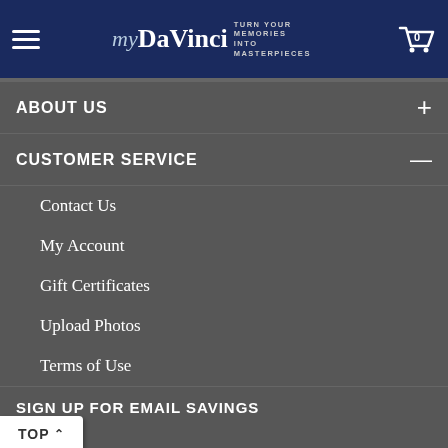[Figure (logo): myDaVinci logo with hamburger menu and shopping cart icon on dark navy header]
ABOUT US
CUSTOMER SERVICE
Contact Us
My Account
Gift Certificates
Upload Photos
Terms of Use
SIGN UP FOR EMAIL SAVINGS
Sign In
I Forgot My Password
Enter your email address
JOIN US
Your personal information will never be shared with third parties
TOP ^